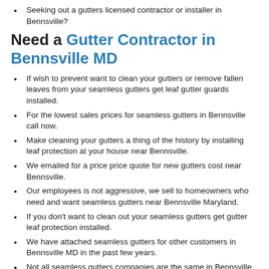Seeking out a gutters licensed contractor or installer in Bennsville?
Need a Gutter Contractor in Bennsville MD
If wish to prevent want to clean your gutters or remove fallen leaves from your seamless gutters get leaf gutter guards installed.
For the lowest sales prices for seamless gutters in Bennsville call now.
Make cleaning your gutters a thing of the history by installing leaf protection at your house near Bennsville.
We emailed for a price price quote for new gutters cost near Bennsville.
Our employees is not aggressive, we sell to homeowners who need and want seamless gutters near Bennsville Maryland.
If you don't want to clean out your seamless gutters get gutter leaf protection installed.
We have attached seamless gutters for other customers in Bennsville MD in the past few years.
Not all seamless gutters companies are the same in Bennsville, MD 20695, we at Bennsville Seamless Gutters